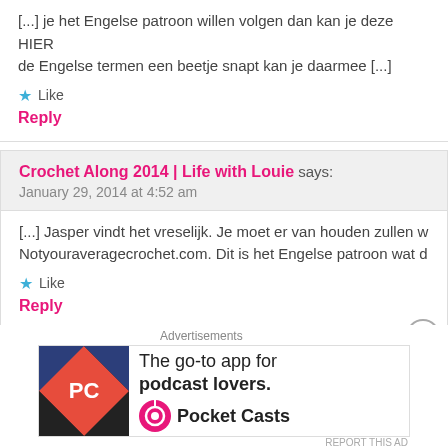[...] je het Engelse patroon willen volgen dan kan je deze HIER de Engelse termen een beetje snapt kan je daarmee [...]
Like
Reply
Crochet Along 2014 | Life with Louie says:
January 29, 2014 at 4:52 am
[...] Jasper vindt het vreselijk. Je moet er van houden zullen w Notyouraveragecrochet.com. Dit is het Engelse patroon wat d
Like
Reply
Schwarzwalder Kirsch Deken | says:
[Figure (infographic): Advertisement banner: Pocket Casts - The go-to app for podcast lovers]